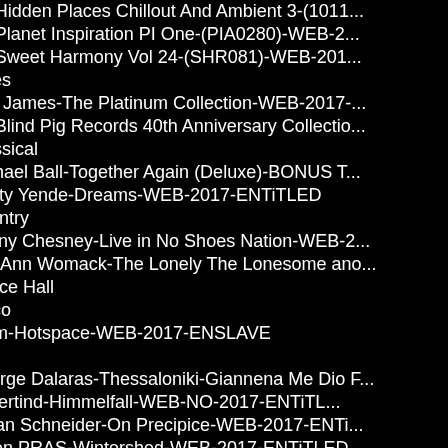VA-Hidden Places Chillout And Ambient 3-(101...
VA-Planet Inspiration PI One-(PIA0280)-WEB-2...
VA-Sweet Harmony Vol 24-(SHR081)-WEB-201...
Blues
Etta James-The Platinum Collection-WEB-2017-...
VA-Blind Pig Records 40th Anniversary Collectio...
Classical
Michael Ball-Together Again (Deluxe)-BONUS T...
Pretty Yende-Dreams-WEB-2017-ENTiTLED
Country
Kenny Chesney-Live in No Shoes Nation-WEB-2...
Lee Ann Womack-The Lonely The Lonesome ano...
Dance Hall
Disco
Hiem-Hotspace-WEB-2017-ENSLAVE
Folk
George Dalaras-Thessaloniki-Giannena Me Dio F...
Glittertind-Himmelfall-WEB-NO-2017-ENTiTL...
J Alan Schneider-On Precipice-WEB-2017-ENTi...
Julien PRAS-Wintershed-WEB-2017-ENTiTLED...
Lankum-Between the Earth and Sky-WEB-2017-...
Martin Hayes Quartet-The Blue Room-WEB-201...
Regenbogen Und Freunde-Franz Fahr Net Nach S...
Wailin Jennys-Fifteen-WEB-2017-ENTiTLED
Zhengrong Wang-No One Like You-WEB-CN-20...